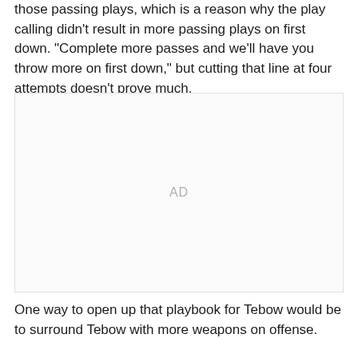those passing plays, which is a reason why the play calling didn't result in more passing plays on first down. "Complete more passes and we'll have you throw more on first down," but cutting that line at four attempts doesn't prove much.
[Figure (other): Advertisement placeholder box with 'AD' label]
One way to open up that playbook for Tebow would be to surround Tebow with more weapons on offense.